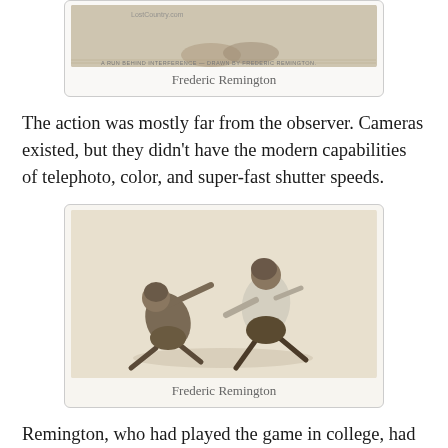[Figure (illustration): Frederic Remington illustration of a football run behind interference, partially cropped at top of page]
Frederic Remington
The action was mostly far from the observer. Cameras existed, but they didn't have the modern capabilities of telephoto, color, and super-fast shutter speeds.
[Figure (illustration): Frederic Remington drawing of two football players, one tackling the other, in a dynamic crouching pose]
Frederic Remington
Remington, who had played the game in college, had a natural flair for action.
J.C. Leyendecker focused on compositions with strong poster-like silhouettes to capture the glamorous aspects of